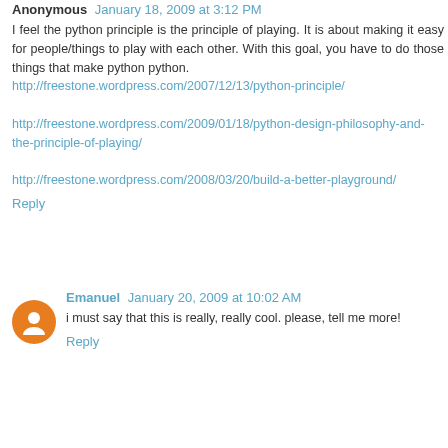Anonymous January 18, 2009 at 3:12 PM
I feel the python principle is the principle of playing. It is about making it easy for people/things to play with each other. With this goal, you have to do those things that make python python.
http://freestone.wordpress.com/2007/12/13/python-principle/

http://freestone.wordpress.com/2009/01/18/python-design-philosophy-and-the-principle-of-playing/

http://freestone.wordpress.com/2008/03/20/build-a-better-playground/
Reply
Emanuel January 20, 2009 at 10:02 AM
i must say that this is really, really cool. please, tell me more!
Reply